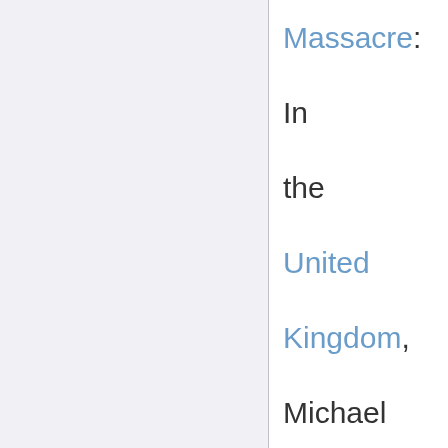Massacre: In the United Kingdom, Michael Ryan kills 16 with an assault rifle and then